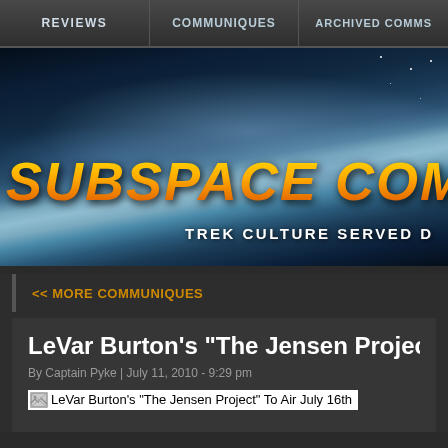REVIEWS | COMMUNIQUES | ARCHIVED COMMS
[Figure (illustration): Subspace Communiqué website banner with space/nebula background. Large orange italic text reads 'SUBSPACE COMMUNIQ' (truncated). White bold text below reads 'TREK CULTURE SERVED D' (truncated).]
<< MORE COMMUNIQUES
LeVar Burton's "The Jensen Projec
By Captain Pyke | July 11, 2010 - 9:29 pm
[Figure (photo): Broken image placeholder with alt text: LeVar Burton's "The Jensen Project" To Air July 16th]
LeVar Burton's "The Jensen Project" To Air July 16th